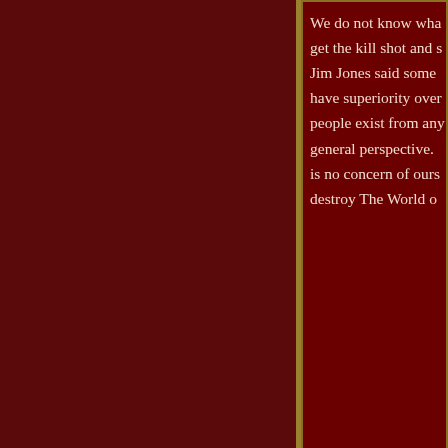We do not know wha... get the kill shot and s... Jim Jones said some... have superiority over... people exist from any... general perspective. is no concern of ours... destroy The World o...
Tuesday, July 06,
Visible said...
A new Reflection in th...
"It is Sort of Like Tea...
Scroll to Top
Tuesday, July 06,